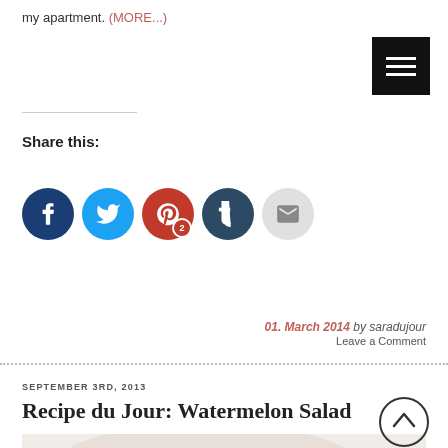my apartment. (MORE...)
[Figure (other): Hamburger menu icon (three horizontal white lines on black background)]
Share this:
[Figure (infographic): Social sharing icons: Facebook (dark blue circle), Twitter (light blue circle), Pinterest with badge showing 2 (red circle), Tumblr (dark blue-grey circle), Email (grey circle)]
01. March 2014 by saradujour
Leave a Comment
SEPTEMBER 3RD, 2013
Recipe du Jour: Watermelon Salad
[Figure (photo): Partial photo of a plate with watermelon salad including raspberries and mint]
[Figure (other): Back to top button: circle with upward chevron arrow]